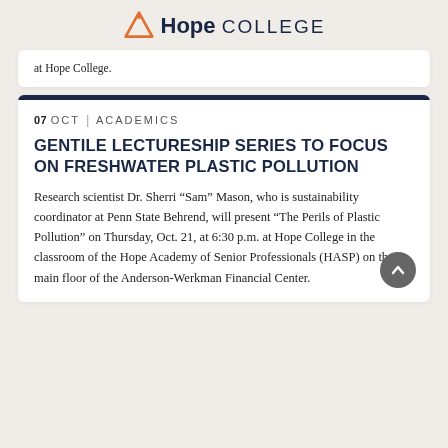Hope College
at Hope College.
07 OCT | ACADEMICS
GENTILE LECTURESHIP SERIES TO FOCUS ON FRESHWATER PLASTIC POLLUTION
Research scientist Dr. Sherri “Sam” Mason, who is sustainability coordinator at Penn State Behrend, will present “The Perils of Plastic Pollution” on Thursday, Oct. 21, at 6:30 p.m. at Hope College in the classroom of the Hope Academy of Senior Professionals (HASP) on the main floor of the Anderson-Werkman Financial Center.